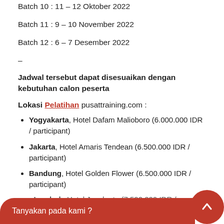Batch 10 : 11 – 12 Oktober 2022
Batch 11 : 9 – 10 November 2022
Batch 12 : 6 – 7 Desember 2022
–
Jadwal tersebut dapat disesuaikan dengan kebutuhan calon peserta
Lokasi Pelatihan pusattraining.com :
Yogyakarta, Hotel Dafam Malioboro (6.000.000 IDR / participant)
Jakarta, Hotel Amaris Tendean (6.500.000 IDR / participant)
Bandung, Hotel Golden Flower (6.500.000 IDR / participant)
Lombok, Hotel Jayakarta (7.500.000 IDR / partisina
Tanyakan pada kami ?